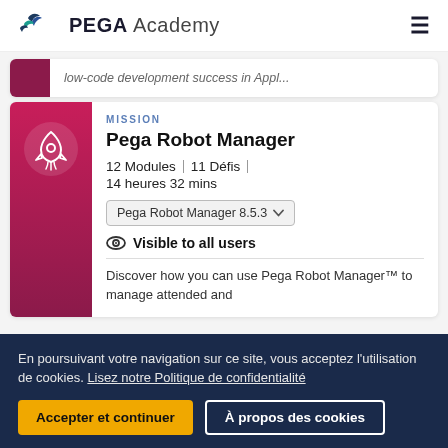PEGA Academy
low-code development success in Appl...
MISSION
Pega Robot Manager
12 Modules | 11 Défis | 14 heures 32 mins
Pega Robot Manager 8.5.3
Visible to all users
Discover how you can use Pega Robot Manager™ to manage attended and
En poursuivant votre navigation sur ce site, vous acceptez l'utilisation de cookies. Lisez notre Politique de confidentialité
Accepter et continuer
À propos des cookies